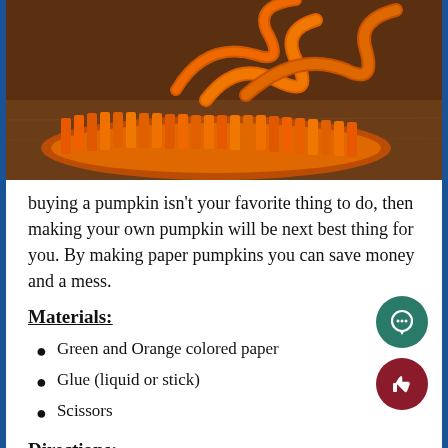[Figure (photo): Photo of orange paper pumpkin craft with curled paper strips on a wooden surface]
buying a pumpkin isn't your favorite thing to do, then making your own pumpkin will be next best thing for you. By making paper pumpkins you can save money and a mess.
Materials:
Green and Orange colored paper
Glue (liquid or stick)
Scissors
Directions: